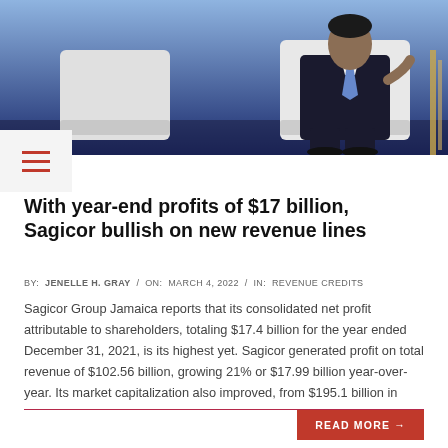[Figure (photo): Man in dark suit and blue tie seated in a white chair on a stage with a blue background, at a conference or panel event.]
With year-end profits of $17 billion, Sagicor bullish on new revenue lines
BY: JENELLE H. GRAY / ON: MARCH 4, 2022 / IN: REVENUE CREDITS
Sagicor Group Jamaica reports that its consolidated net profit attributable to shareholders, totaling $17.4 billion for the year ended December 31, 2021, is its highest yet. Sagicor generated profit on total revenue of $102.56 billion, growing 21% or $17.99 billion year-over-year. Its market capitalization also improved, from $195.1 billion in
READ MORE →